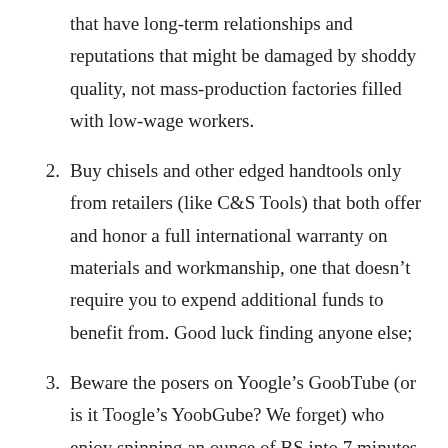that have long-term relationships and reputations that might be damaged by shoddy quality, not mass-production factories filled with low-wage workers.
2. Buy chisels and other edged handtools only from retailers (like C&S Tools) that both offer and honor a full international warranty on materials and workmanship, one that doesn't require you to expend additional funds to benefit from. Good luck finding anyone else;
3. Beware the posers on Yoogle's GoobTube (or is it Toogle's YoobGube? We forget) who enjoy spinning an ounce of BS into 7 minutes of visual entertainment, all without any responsibility for the